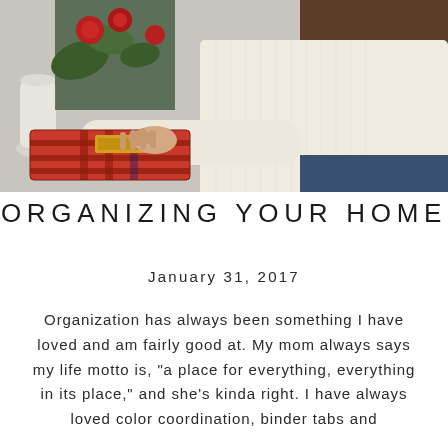[Figure (photo): A woman in a cream/white knit sweater handling a plaid-wrapped gift or cloth near a table with red flowers and greenery in the background.]
ORGANIZING YOUR HOME
January 31, 2017
Organization has always been something I have loved and am fairly good at. My mom always says my life motto is, “a place for everything, everything in its place,” and she’s kinda right. I have always loved color coordination, binder tabs and